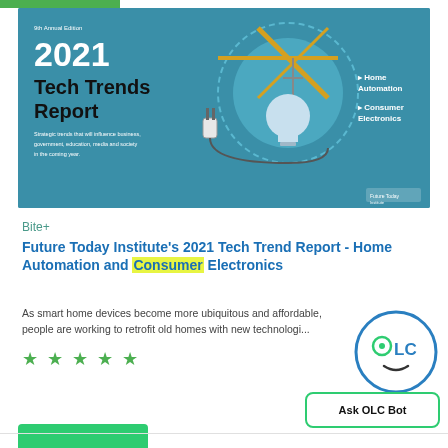[Figure (illustration): 2021 Tech Trends Report cover image with teal/blue background, crane and lightbulb illustration, text listing Home Automation and Consumer Electronics]
Bite+
Future Today Institute's 2021 Tech Trend Report - Home Automation and Consumer Electronics
As smart home devices become more ubiquitous and affordable, people are working to retrofit old homes with new technologi...
★ ★ ★ ★ ★
[Figure (logo): OLC Bot circular logo with face icon]
Ask OLC Bot